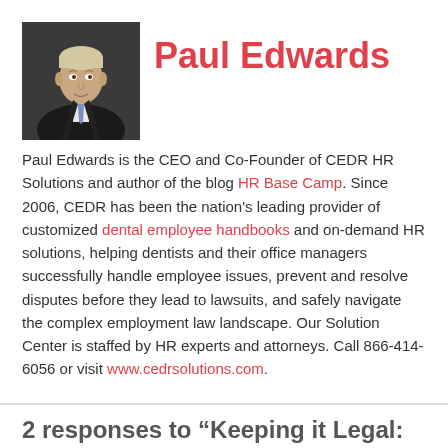Paul Edwards
[Figure (photo): Headshot photo of Paul Edwards, a man in a dark suit and tie against a dark background.]
Paul Edwards is the CEO and Co-Founder of CEDR HR Solutions and author of the blog HR Base Camp. Since 2006, CEDR has been the nation's leading provider of customized dental employee handbooks and on-demand HR solutions, helping dentists and their office managers successfully handle employee issues, prevent and resolve disputes before they lead to lawsuits, and safely navigate the complex employment law landscape. Our Solution Center is staffed by HR experts and attorneys. Call 866-414-6056 or visit www.cedrsolutions.com.
2 responses to “Keeping it Legal: Safe Interview Questions”